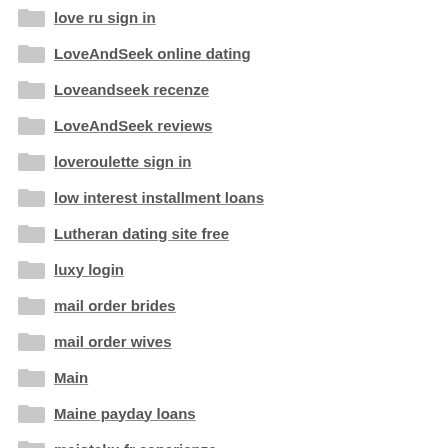love ru sign in
LoveAndSeek online dating
Loveandseek recenze
LoveAndSeek reviews
loveroulette sign in
low interest installment loans
Lutheran dating site free
luxy login
mail order brides
mail order wives
Main
Maine payday loans
maiotaku fr esperienze